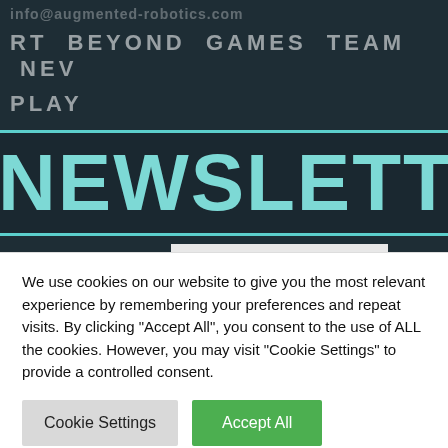info@augmented-robotics.com
RT  BEYOND  GAMES  TEAM  NEW  PLAY
NEWSLETTER
Email
We use cookies on our website to give you the most relevant experience by remembering your preferences and repeat visits. By clicking "Accept All", you consent to the use of ALL the cookies. However, you may visit "Cookie Settings" to provide a controlled consent.
Cookie Settings  Accept All